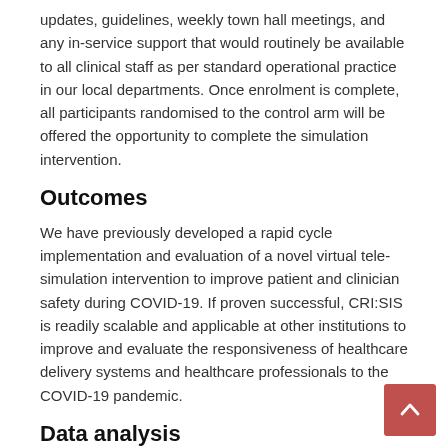updates, guidelines, weekly town hall meetings, and any in-service support that would routinely be available to all clinical staff as per standard operational practice in our local departments. Once enrolment is complete, all participants randomised to the control arm will be offered the opportunity to complete the simulation intervention.
Outcomes
We have previously developed a rapid cycle implementation and evaluation of a novel virtual tele-simulation intervention to improve patient and clinician safety during COVID-19. If proven successful, CRI:SIS is readily scalable and applicable at other institutions to improve and evaluate the responsiveness of healthcare delivery systems and healthcare professionals to the COVID-19 pandemic.
Data analysis
Data processing of HRV will be completed with Vivosense software to validate signal quality and mark ECG R-waves for analysis. HRV, our primary outcome of